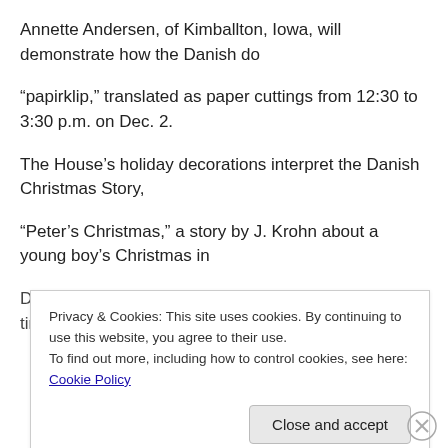Annette Andersen, of Kimballton, Iowa, will demonstrate how the Danish do
“papirklip,” translated as paper cuttings from 12:30 to 3:30 p.m. on Dec. 2.
The House’s holiday decorations interpret the Danish Christmas Story,
“Peter’s Christmas,” a story by J. Krohn about a young boy’s Christmas in
Denmark in the late 1800s. It was written about the time
Privacy & Cookies: This site uses cookies. By continuing to use this website, you agree to their use.
To find out more, including how to control cookies, see here: Cookie Policy